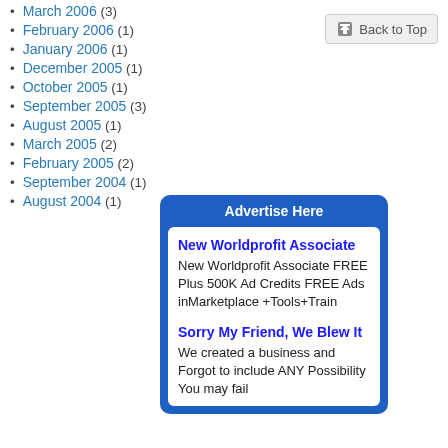March 2006 (3)
February 2006 (1)
January 2006 (1)
December 2005 (1)
October 2005 (1)
September 2005 (3)
August 2005 (1)
March 2005 (2)
February 2005 (2)
September 2004 (1)
August 2004 (1)
Back to Top
[Figure (infographic): Advertisement box with blue background titled 'Advertise Here' containing two ad listings: 'New Worldprofit Associate' and 'Sorry My Friend, We Blew It']